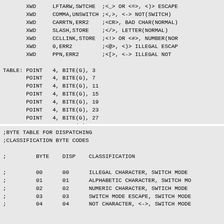XWD LFTARW,SWTCHE ;<_> OR <=>, <)> ESCAPE
 XWD COMMA,UNSWITCH ;<,>, <-> NOT(SWITCH)
 XWD CARRTN,ERR2 ;<CR>, BAD CHAR(NORMAL)
 XWD SLASH,STORE ;</>, LETTER(NORMAL)
 XWD CCLLINK,STORE ;<!> OR <#>, NUMBER(NOR
 XWD 0,ERR2 ;<@>, <)> ILLEGAL ESCAP
 XWD PPN,ERR2 ;<[>, <-> ILLEGAL NOT

TABLE: POINT 4, BITE(G), 3
 POINT 4, BITE(G), 7
 POINT 4, BITE(G), 11
 POINT 4, BITE(G), 15
 POINT 4, BITE(G), 19
 POINT 4, BITE(G), 23
 POINT 4, BITE(G), 27
 POINT 4, BITE(G), 31
 POINT 4, BITE(G), 35
;BYTE TABLE FOR DISPATCHING
;CLASSIFICATION BYTE CODES

;         BYTE    DISP    CLASSIFICATION

;         00      00      ILLEGAL CHARACTER, SWITCH MODE
;         01      01      ALPHABETIC CHARACTER, SWITCH MO
;         02      02      NUMERIC CHARACTER, SWTICH MODE
;         03      03      SWITCH MODE ESCAPE, SWITCH MODE
;         04      04      NOT CHARACTER, <->, SWITCH MODE